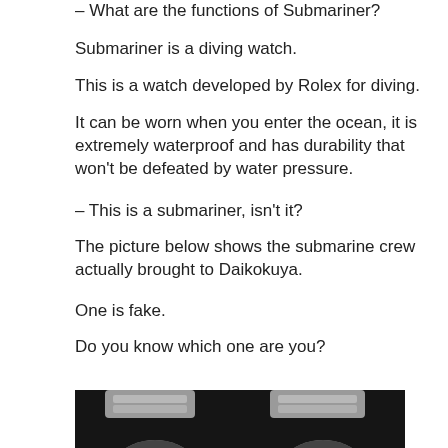– What are the functions of Submariner?
Submariner is a diving watch.
This is a watch developed by Rolex for diving.
It can be worn when you enter the ocean, it is extremely waterproof and has durability that won't be defeated by water pressure.
– This is a submariner, isn't it?
The picture below shows the submarine crew actually brought to Daikokuya.
One is fake.
Do you know which one are you?
[Figure (photo): Two Rolex Submariner watches side by side on a dark background. One is genuine and one is fake. Both watches have black dials with luminous markers and black bezels with tachymeter markings. Silver/steel bracelets and cases.]